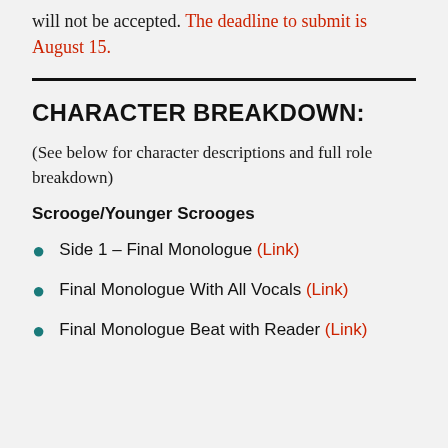will not be accepted. The deadline to submit is August 15.
CHARACTER BREAKDOWN:
(See below for character descriptions and full role breakdown)
Scrooge/Younger Scrooges
Side 1 – Final Monologue (Link)
Final Monologue With All Vocals (Link)
Final Monologue Beat with Reader (Link)